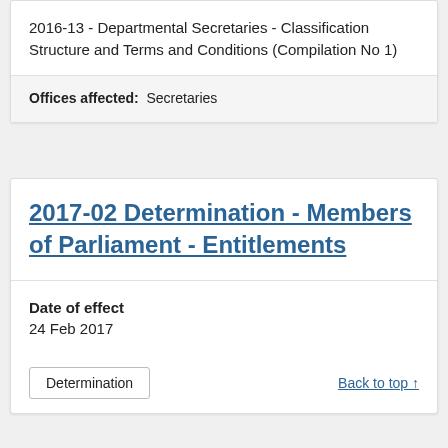2016-13 - Departmental Secretaries - Classification Structure and Terms and Conditions (Compilation No 1)
Offices affected: Secretaries
2017-02 Determination - Members of Parliament - Entitlements
Date of effect
24 Feb 2017
Determination
Back to top ↑